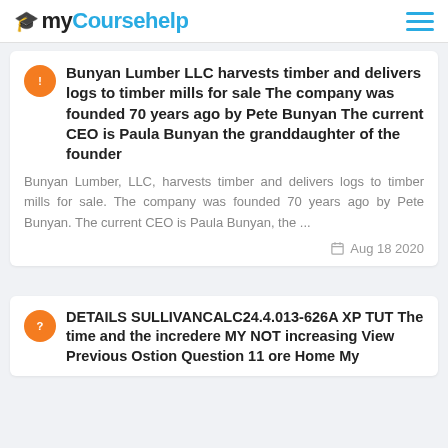myCoursehelp
Bunyan Lumber LLC harvests timber and delivers logs to timber mills for sale The company was founded 70 years ago by Pete Bunyan The current CEO is Paula Bunyan the granddaughter of the founder
Bunyan Lumber, LLC, harvests timber and delivers logs to timber mills for sale. The company was founded 70 years ago by Pete Bunyan. The current CEO is Paula Bunyan, the ...
Aug 18 2020
DETAILS SULLIVANCALC24.4.013-626A XP TUT The time and the incredere MY NOT increasing View Previous Ostion Question 11 ore Home My